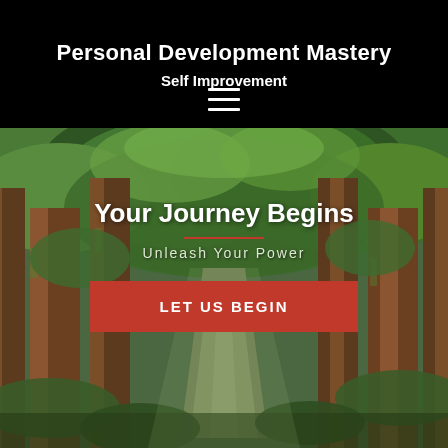Personal Development Mastery
Self Improvement
[Figure (illustration): Hamburger menu icon (three horizontal white lines) on black background]
[Figure (photo): Forest of tall redwood/cedar trees with a pathway leading through them, lush green foliage overhead, warm brown tree trunks, sunlight filtering through the canopy]
Your Journey Begins
Unleash Your Power
LET US BEGIN